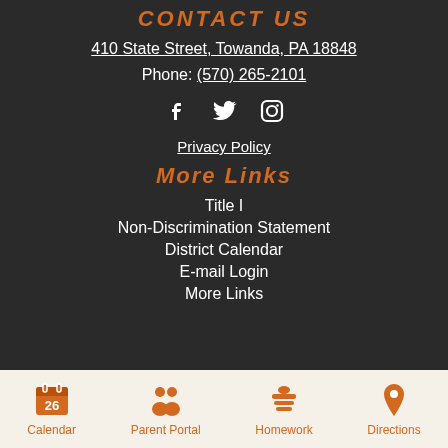CONTACT US
410 State Street, Towanda, PA 18848
Phone: (570) 265-2101
[Figure (illustration): Social media icons: Facebook, Twitter, Instagram]
Privacy Policy
More Links
Title I
Non-Discrimination Statement
District Calendar
E-mail Login
More Links
[Figure (infographic): Footer navigation bar with four icons and labels: Calendar (26), Parent Portal, Homework, Directions]